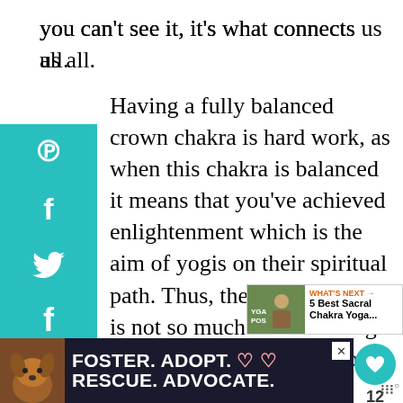you can't see it, it's what connects us all.
Having a fully balanced crown chakra is hard work, as when this chakra is balanced it means that you've achieved enlightenment which is the aim of yogis on their spiritual path. Thus, the crown chakra is not so much about finding the perfect balance but more about aiming for balance.
When perfect balance is achieved you're not really human anymore because you suffer, as suffering is part of the human
[Figure (screenshot): Social media sharing sidebar with Pinterest, Facebook, Twitter, Flipboard, and WhatsApp icons in teal]
[Figure (screenshot): What's Next widget showing link to '5 Best Sacral Chakra Yoga...']
[Figure (screenshot): Advertisement banner: FOSTER. ADOPT. RESCUE. ADVOCATE. with dog image]